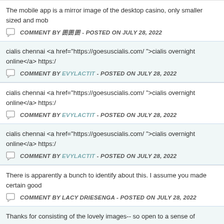The mobile app is a mirror image of the desktop casino, only smaller sized and mob
COMMENT BY 囲囲囲 - POSTED ON JULY 28, 2022
cialis chennai <a href="https://goesuscialis.com/ ">cialis overnight online</a> https:/
COMMENT BY EVYLACTIT - POSTED ON JULY 28, 2022
cialis chennai <a href="https://goesuscialis.com/ ">cialis overnight online</a> https:/
COMMENT BY EVYLACTIT - POSTED ON JULY 28, 2022
cialis chennai <a href="https://goesuscialis.com/ ">cialis overnight online</a> https:/
COMMENT BY EVYLACTIT - POSTED ON JULY 28, 2022
There is apparently a bunch to identify about this. I assume you made certain good
COMMENT BY LACY DRIESENGA - POSTED ON JULY 28, 2022
Thanks for consisting of the lovely images-- so open to a sense of contemplation. m
COMMENT BY HOMEPAGE - POSTED ON JULY 28, 2022